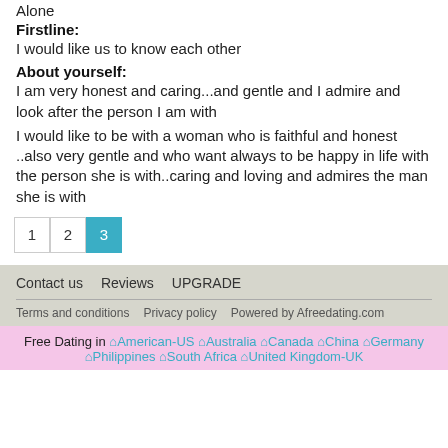Alone
Firstline:
I would like us to know each other
About yourself:
I am very honest and caring...and gentle and I admire and look after the person I am with
I would like to be with a woman who is faithful and honest ..also very gentle and who want always to be happy in life with the person she is with..caring and loving and admires the man she is with
1  2  3
Contact us   Reviews   UPGRADE
Terms and conditions   Privacy policy   Powered by Afreedating.com
Free Dating in American-US Australia Canada China Germany Philippines South Africa United Kingdom-UK